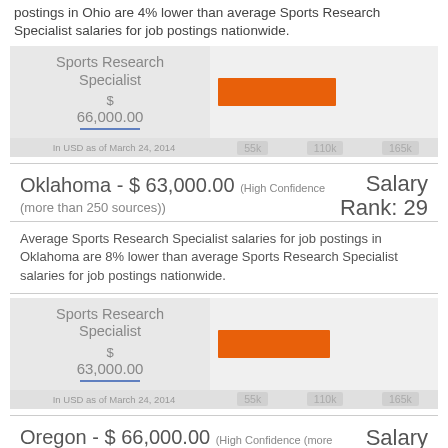postings in Ohio are 4% lower than average Sports Research Specialist salaries for job postings nationwide.
[Figure (bar-chart): Sports Research Specialist]
Oklahoma - $ 63,000.00 (High Confidence (more than 250 sources))  Salary Rank: 29
Average Sports Research Specialist salaries for job postings in Oklahoma are 8% lower than average Sports Research Specialist salaries for job postings nationwide.
[Figure (bar-chart): Sports Research Specialist]
Oregon - $ 66,000.00 (High Confidence (more  Salary